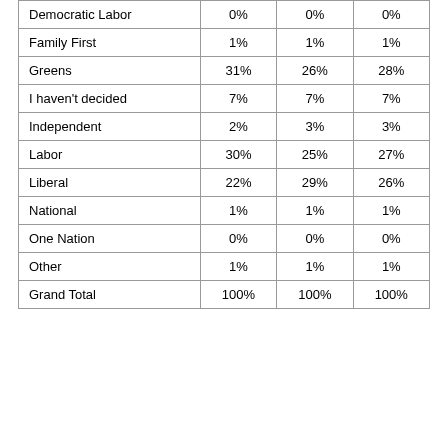| Democratic Labor | 0% | 0% | 0% |
| Family First | 1% | 1% | 1% |
| Greens | 31% | 26% | 28% |
| I haven't decided | 7% | 7% | 7% |
| Independent | 2% | 3% | 3% |
| Labor | 30% | 25% | 27% |
| Liberal | 22% | 29% | 26% |
| National | 1% | 1% | 1% |
| One Nation | 0% | 0% | 0% |
| Other | 1% | 1% | 1% |
| Grand Total | 100% | 100% | 100% |